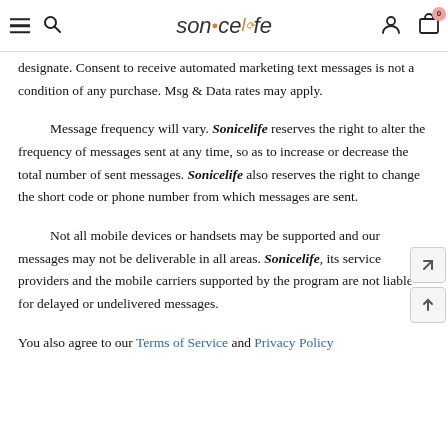Sonicelife — Navigation header with hamburger menu, search, logo, user icon, cart (0)
designate. Consent to receive automated marketing text messages is not a condition of any purchase. Msg & Data rates may apply.
Message frequency will vary. Sonicelife reserves the right to alter the frequency of messages sent at any time, so as to increase or decrease the total number of sent messages. Sonicelife also reserves the right to change the short code or phone number from which messages are sent.
Not all mobile devices or handsets may be supported and our messages may not be deliverable in all areas. Sonicelife, its service providers and the mobile carriers supported by the program are not liable for delayed or undelivered messages.
You also agree to our Terms of Service and Privacy Policy